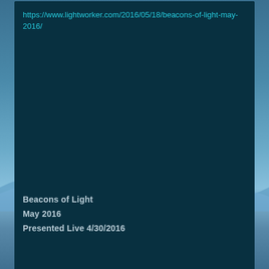https://www.lightworker.com/2016/05/18/beacons-of-light-may-2016/
Beacons of Light
May 2016
Presented Live 4/30/2016
Leave a comment
Kelly M. Beard: Weekly Forecast: May 29 – June 4, 2016
Posted on May 31, 2016